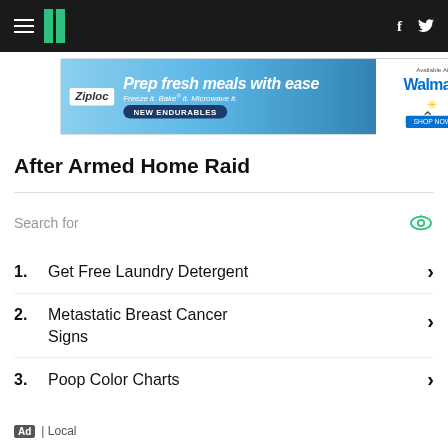HuffPost navigation bar with hamburger menu, logo, Facebook and Twitter icons
[Figure (other): Ziploc advertisement banner: Prep fresh meals with ease. Freeze it. Bake it. Microwave it. NEW ENDURABLES. Available At Walmart.]
After Armed Home Raid
Search for
1. Get Free Laundry Detergent
2. Metastatic Breast Cancer Signs
3. Poop Color Charts
Ad | Local